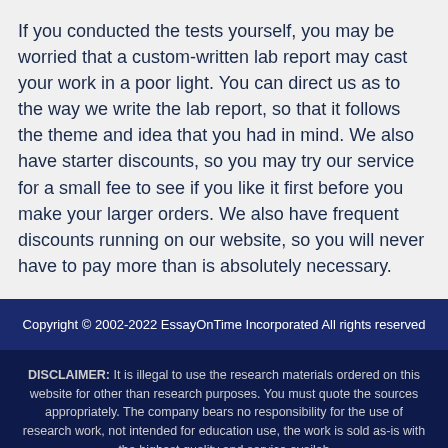If you conducted the tests yourself, you may be worried that a custom-written lab report may cast your work in a poor light. You can direct us as to the way we write the lab report, so that it follows the theme and idea that you had in mind. We also have starter discounts, so you may try our service for a small fee to see if you like it first before you make your larger orders. We also have frequent discounts running on our website, so you will never have to pay more than is absolutely necessary.
Copyright © 2002-2022 EssayOnTime Incorporated All rights reserved
DISCLAIMER: It is illegal to use the research materials ordered on this website for other than research purposes. You must quote the sources appropriately. The company bears no responsibility for the use of research work, not intended for education use, the work is sold as-is with the highest quality and service available
and written by freelancers.